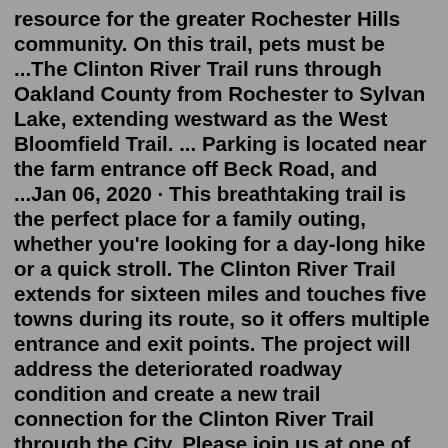resource for the greater Rochester Hills community. On this trail, pets must be ...The Clinton River Trail runs through Oakland County from Rochester to Sylvan Lake, extending westward as the West Bloomfield Trail. ... Parking is located near the farm entrance off Beck Road, and ...Jan 06, 2020 · This breathtaking trail is the perfect place for a family outing, whether you're looking for a day-long hike or a quick stroll. The Clinton River Trail extends for sixteen miles and touches five towns during its route, so it offers multiple entrance and exit points. The project will address the deteriorated roadway condition and create a new trail connection for the Clinton River Trail through the City. Please join us at one of the Public Meetings for the project: PIKE STREET IMPROVEMENTS. PUBLIC MEETING. MONDAY, AUG 15, 2022. 11:00 AM — 1:00 PM.Feb 06, 2020 · Trail use has increased over the years, and Ketchum expects to that increase to continue—especially for cyclists—as people start using the Michigan bike trails. Clinton River Trail The